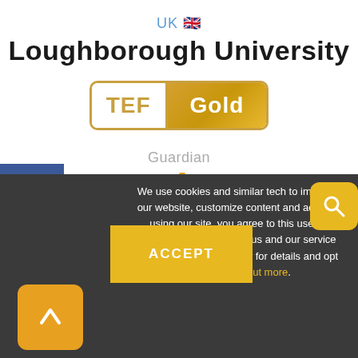UK 🇬🇧
Loughborough University
[Figure (logo): TEF Gold badge — rectangle with gold border, left side white with gold TEF text, right side gold gradient with white 'Gold' text]
Guardian
4
THE
[Figure (infographic): Social media sidebar with Facebook (blue), Twitter (light blue), Instagram (gradient) icons]
We use cookies and similar tech to improve our website, customize content and ads. By using our site, you agree to this use of browsing information by us and our service partners. Read our policy for details and opt out info. Find out more
ACCEPT